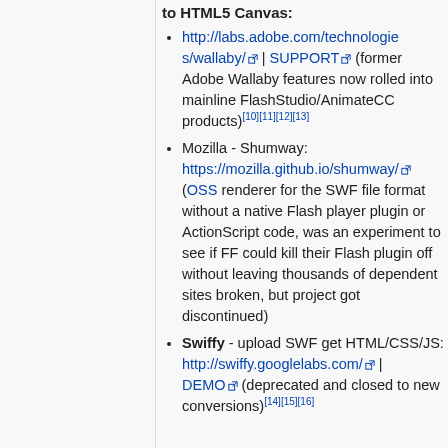to HTML5 Canvas:
http://labs.adobe.com/technologies/wallaby/ | SUPPORT (former Adobe Wallaby features now rolled into mainline FlashStudio/AnimateCC products)[10][11][12][13]
Mozilla - Shumway: https://mozilla.github.io/shumway/ (OSS renderer for the SWF file format without a native Flash player plugin or ActionScript code, was an experiment to see if FF could kill their Flash plugin off without leaving thousands of dependent sites broken, but project got discontinued)
Swiffy - upload SWF get HTML/CSS/JS: http://swiffy.googlelabs.com/ | DEMO (deprecated and closed to new conversions)[14][15][16]